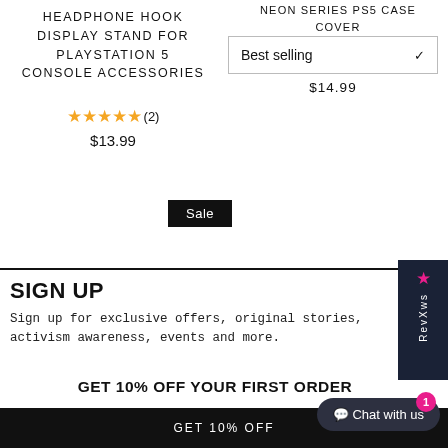HEADPHONE HOOK DISPLAY STAND FOR PLAYSTATION 5 CONSOLE ACCESSORIES
★★★★☆(2)
$13.99
NEON SERIES PS5 CASE COVER
Best selling
$14.99
Sale
SIGN UP
Sign up for exclusive offers, original stories, activism awareness, events and more.
GET 10% OFF YOUR FIRST ORDER
GET 10% OFF
Chat with us